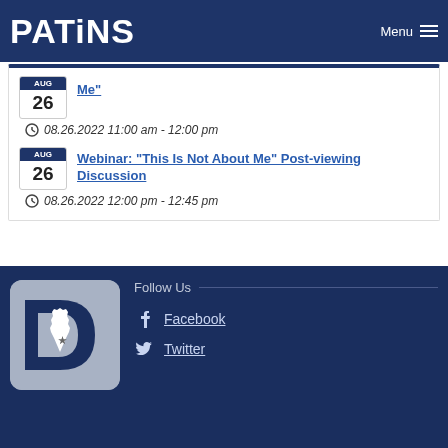PATINS Menu
Aug 26 - Me" 08.26.2022 11:00 am - 12:00 pm
Webinar: "This Is Not About Me" Post-viewing Discussion 08.26.2022 12:00 pm - 12:45 pm
[Figure (logo): PATINS logo with Indiana state outline and star]
Follow Us
Facebook
Twitter